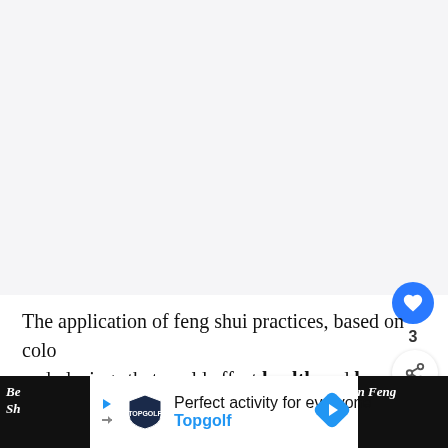[Figure (photo): Light gray placeholder image area representing a feng shui or baby room photo]
The application of feng shui practices, based on colo and placings that could affect health and ha will aid and enhance your baby's growth.
[Figure (infographic): What's Next panel showing thumbnail for '11 Feng Shui Crystal...' article]
[Figure (infographic): Advertisement bar: 'Perfect activity for everyone - Topgolf']